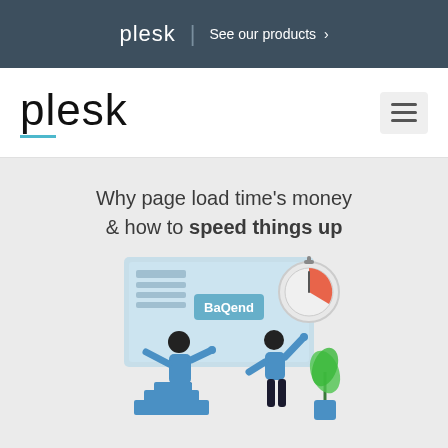plesk | See our products >
[Figure (logo): Plesk logo in dark navy navigation bar]
Why page load time's money & how to speed things up
[Figure (illustration): Two people standing in front of a screen showing 'BaQend' with a stopwatch/timer icon. One person stands on blue steps pointing at the screen, another stands beside a plant with arm raised.]